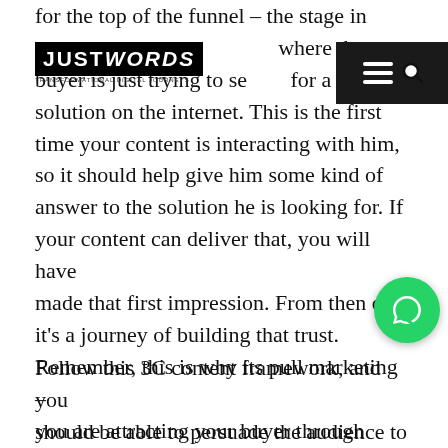[Figure (logo): JustWords logo with black background, white bold text reading JUSTWORDS, subtitle TRANSFORMATIONAL DIGITAL JOURNEYS]
[Figure (other): Black hamburger menu icon navigation bar overlay]
for the top of the funnel – the stage in where the buyer is just trying to search for a solution on the internet. This is the first time your content is interacting with him, so it should help give him some kind of answer to the solution he is looking for. If your content can deliver that, you will have made that first impression. From then on, it's a journey of building that trust. Remember, this is why its pull marketing – you are attracting your buyer through several stages of the buyer's journey by building trust.
[Figure (other): Green WhatsApp circular button icon on the right side]
Follow this 3C content framework, and you should be able to persuade the audience to